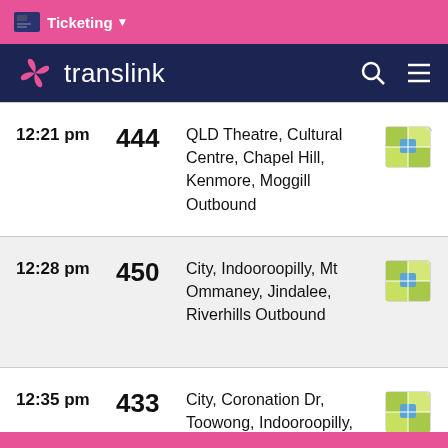Ticketing
[Figure (screenshot): Translink logo with pink pinwheel icon and white text on navy background, with search and menu icons]
| Time | Route | Description | Map |
| --- | --- | --- | --- |
| 12:21 pm | 444 | QLD Theatre, Cultural Centre, Chapel Hill, Kenmore, Moggill Outbound | map icon |
| 12:28 pm | 450 | City, Indooroopilly, Mt Ommaney, Jindalee, Riverhills Outbound | map icon |
| 12:35 pm | 433 | City, Coronation Dr, Toowong, Indooroopilly, Kenmore South Outbound | map icon |